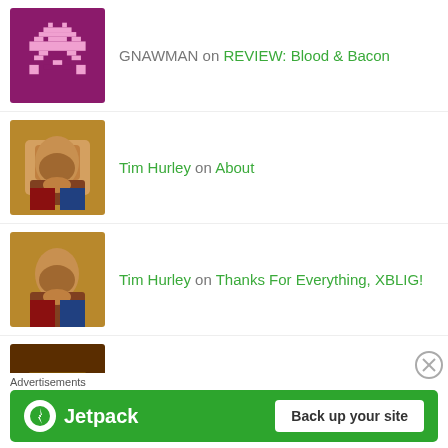GNAWMAN on REVIEW: Blood & Bacon
Tim Hurley on About
Tim Hurley on Thanks For Everything, XBLIG!
The Archivist on Thanks For Everything, XBLIG!
konkikel on About
Tim Hurley on REVIEW: T-Kara Puzzles
Advertisements
[Figure (screenshot): Jetpack advertisement banner: green background with Jetpack logo and 'Back up your site' button]